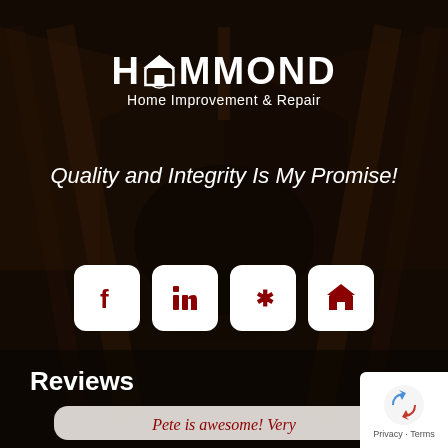[Figure (photo): Dark background photo of a wooden house roof/gable at night]
[Figure (logo): Hammond Home Improvement & Repair logo with house icon in white text]
Quality and Integrity Is My Promise!
[Figure (infographic): Row of four white rounded square social/directory icons: Facebook, LinkedIn, Yelp, home icon]
Reviews
Pete is awesome! Very